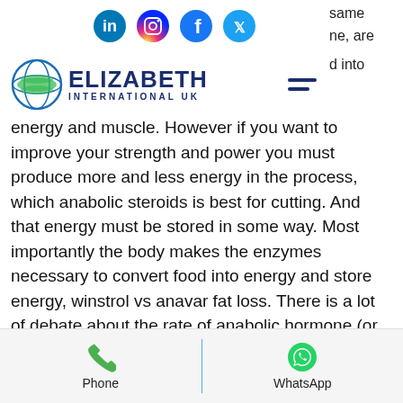[Figure (logo): Social media icons: LinkedIn, Instagram, Facebook, Twitter]
[Figure (logo): Elizabeth International UK logo with globe icon and hamburger menu]
same ne, are ... d into energy and muscle. However if you want to improve your strength and power you must produce more and less energy in the process, which anabolic steroids is best for cutting. And that energy must be stored in some way. Most importantly the body makes the enzymes necessary to convert food into energy and store energy, winstrol vs anavar fat loss. There is a lot of debate about the rate of anabolic hormone (or the body’s rate of growth) but generally speaking there is a constant process that occurs, side effects of cutting down on prednisone. There are also many different levels at which anabolism takes place. At the higher levels anabolism
[Figure (infographic): Bottom navigation bar with Phone and WhatsApp buttons separated by a blue vertical line]